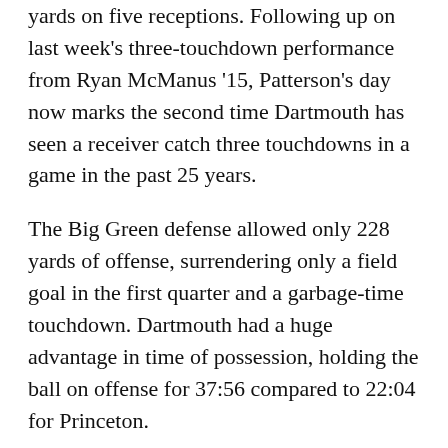yards on five receptions. Following up on last week's three-touchdown performance from Ryan McManus '15, Patterson's day now marks the second time Dartmouth has seen a receiver catch three touchdowns in a game in the past 25 years.
The Big Green defense allowed only 228 yards of offense, surrendering only a field goal in the first quarter and a garbage-time touchdown. Dartmouth had a huge advantage in time of possession, holding the ball on offense for 37:56 compared to 22:04 for Princeton.
After working all season to come out of the gates swinging, the Big Green was effective, driving 69 yards for a touchdown after the opening kickoff. The big play came on the fourth play of the drive, when Williams found Bo Patterson '15 streaking up